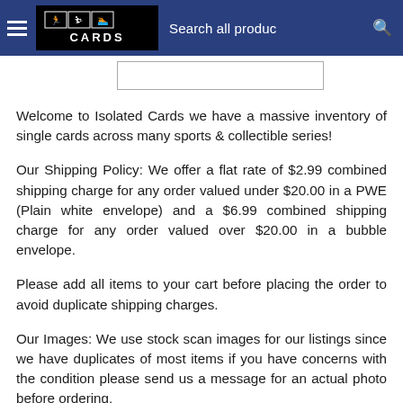Isolated Cards — Search all products
[Figure (logo): Isolated Cards logo with sports silhouettes on black background]
Welcome to Isolated Cards we have a massive inventory of single cards across many sports & collectible series!
Our Shipping Policy: We offer a flat rate of $2.99 combined shipping charge for any order valued under $20.00 in a PWE (Plain white envelope) and a $6.99 combined shipping charge for any order valued over $20.00 in a bubble envelope.
Please add all items to your cart before placing the order to avoid duplicate shipping charges.
Our Images: We use stock scan images for our listings since we have duplicates of most items if you have concerns with the condition please send us a message for an actual photo before ordering.
Inventory: We do our best to make sure all